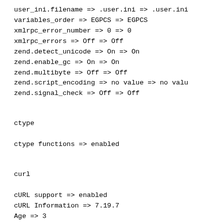user_ini.filename => .user.ini => .user.ini
variables_order => EGPCS => EGPCS
xmlrpc_error_number => 0 => 0
xmlrpc_errors => Off => Off
zend.detect_unicode => On => On
zend.enable_gc => On => On
zend.multibyte => Off => Off
zend.script_encoding => no value => no valu
zend.signal_check => Off => Off
ctype
ctype functions => enabled
curl
cURL support => enabled
cURL Information => 7.19.7
Age => 3